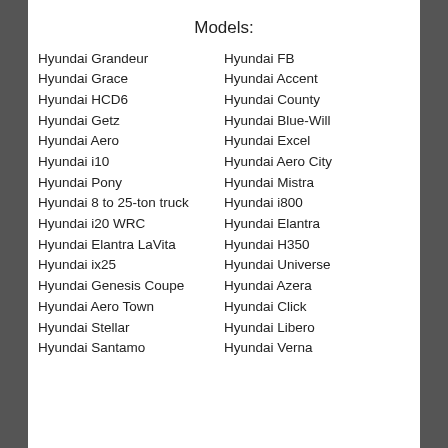Models:
Hyundai Grandeur
Hyundai Grace
Hyundai HCD6
Hyundai Getz
Hyundai Aero
Hyundai i10
Hyundai Pony
Hyundai 8 to 25-ton truck
Hyundai i20 WRC
Hyundai Elantra LaVita
Hyundai ix25
Hyundai Genesis Coupe
Hyundai Aero Town
Hyundai Stellar
Hyundai Santamo
Hyundai FB
Hyundai Accent
Hyundai County
Hyundai Blue-Will
Hyundai Excel
Hyundai Aero City
Hyundai Mistra
Hyundai i800
Hyundai Elantra
Hyundai H350
Hyundai Universe
Hyundai Azera
Hyundai Click
Hyundai Libero
Hyundai Verna